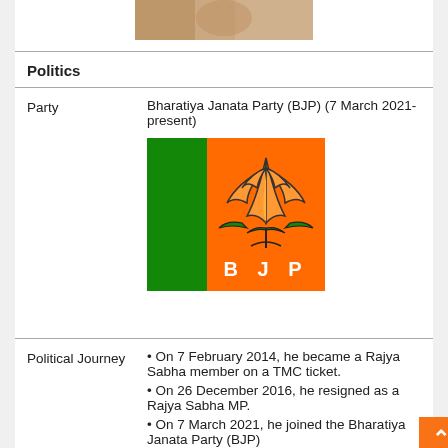[Figure (photo): Top partial image of a person]
Politics
| Party | Bharatiya Janata Party (BJP) (7 March 2021-present) |
| Political Journey | • On 7 February 2014, he became a Rajya Sabha member on a TMC ticket.
• On 26 December 2016, he resigned as a Rajya Sabha MP.
• On 7 March 2021, he joined the Bharatiya Janata Party (BJP) |
[Figure (logo): BJP (Bharatiya Janata Party) logo with lotus flower on orange and green background]